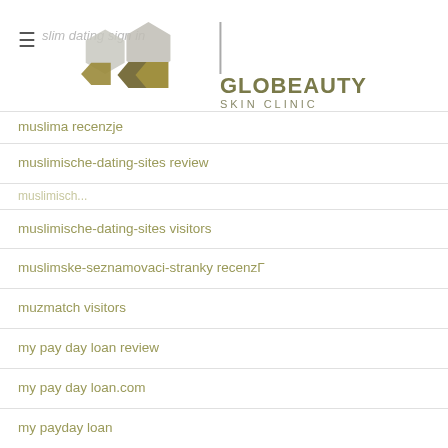GLOBEAUTY SKIN CLINIC
muslima recenzje
muslimische-dating-sites review
muslimische-dating-sites visitors
muslimske-seznamovaci-stranky recenzГ
muzmatch visitors
my pay day loan review
my pay day loan.com
my payday loan
my title loan
Myfreecams zkuste to